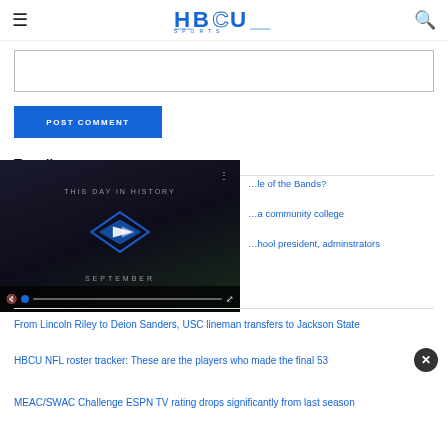HBCU Sports
[Comment text input box]
POST COMMENT
Trending
[Figure (screenshot): Video player showing 'THIS DAY IN HISTORY' with HBCU Sports logo, muted, with progress bar]
…le of the Bands?
…a community college
…hool president, adminstrators
From Lincoln Riley to Deion Sanders, USC lineman transfers to Jackson State
HBCU NFL roster tracker: These are the players who made the final 53
MEAC/SWAC Challenge ESPN TV rating drops significantly from last season